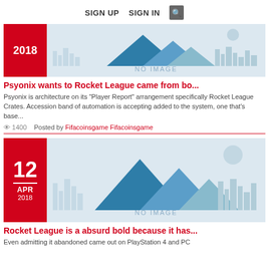SIGN UP   SIGN IN  🔍
[Figure (illustration): No image placeholder with mountain/cityscape silhouette graphic and '2018' date badge in red]
Psyonix wants to Rocket League came from bo...
Psyonix is architecture on its "Player Report" arrangement specifically Rocket League Crates. Accession band of automation is accepting added to the system, one that's base...
👁 1400    Posted by Fifacoinsgame Fifacoinsgame
[Figure (illustration): No image placeholder with mountain/cityscape silhouette graphic and '12 APR 2018' date badge in red]
Rocket League is a absurd bold because it has...
Even admitting it abandoned came out on PlayStation 4 and PC